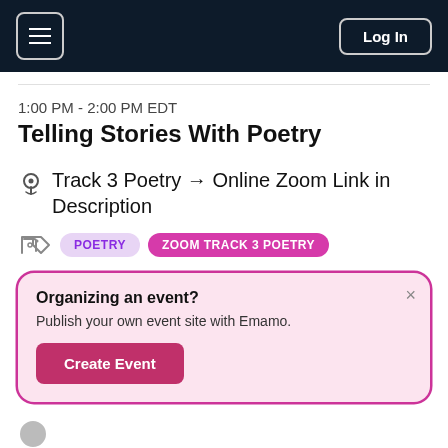Log In
1:00 PM - 2:00 PM EDT
Telling Stories With Poetry
Track 3 Poetry → Online Zoom Link in Description
POETRY   ZOOM TRACK 3 POETRY
Organizing an event? Publish your own event site with Emamo. Create Event